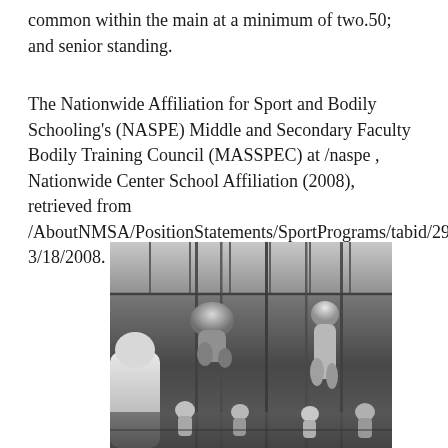common within the main at a minimum of two.50; and senior standing.
The Nationwide Affiliation for Sport and Bodily Schooling's (NASPE) Middle and Secondary Faculty Bodily Training Council (MASSPEC) at /naspe , Nationwide Center School Affiliation (2008), retrieved from /AboutNMSA/PositionStatements/SportPrograms/tabid/292/ 3/18/2008.
[Figure (photo): Black and white photograph of students in a gymnasium climbing ropes, with several figures visible hanging on ropes and one person in the foreground facing away from the camera. Other students are visible in the background.]